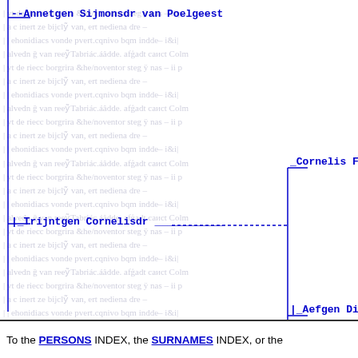--Annetgen Sijmonsdr van Poelgeest
_Trijntgen Cornelisdr
_Cornelis Florisz
|_Aefgen Dircksdr
To the PERSONS INDEX, the SURNAMES INDEX, or the